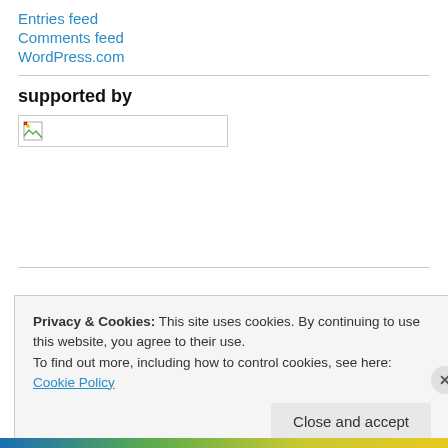Entries feed
Comments feed
WordPress.com
supported by
[Figure (other): Broken image placeholder with small broken image icon]
Privacy & Cookies: This site uses cookies. By continuing to use this website, you agree to their use. To find out more, including how to control cookies, see here: Cookie Policy
Close and accept